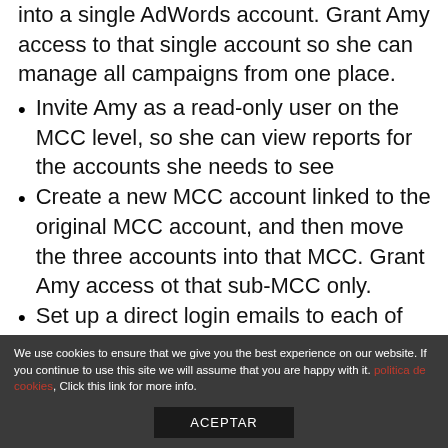into a single AdWords account. Grant Amy access to that single account so she can manage all campaigns from one place.
Invite Amy as a read-only user on the MCC level, so she can view reports for the accounts she needs to see
Create a new MCC account linked to the original MCC account, and then move the three accounts into that MCC. Grant Amy access ot that sub-MCC only.
Set up a direct login emails to each of the three accounts, so Amy will log in to each account individually without gaining access to
We use cookies to ensure that we give you the best experience on our website. If you continue to use this site we will assume that you are happy with it. politica de cookies, Click this link for more info.
ACEPTAR